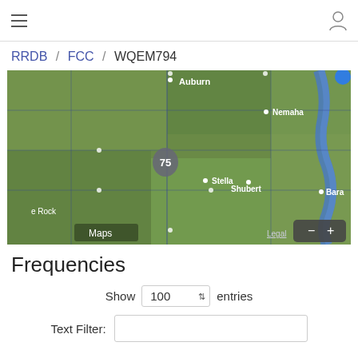≡  [user icon]
RRDB / FCC / WQEM794
[Figure (map): Apple Maps satellite view showing agricultural area in Nebraska with towns Auburn, Nemaha, Stella, Shubert, Bara(da), and e Rock visible. US Highway 75 shield shown. Map controls (zoom in/out) visible in bottom right. Legal link at bottom. Apple Maps logo at bottom left.]
Frequencies
Show 100 entries
Text Filter: